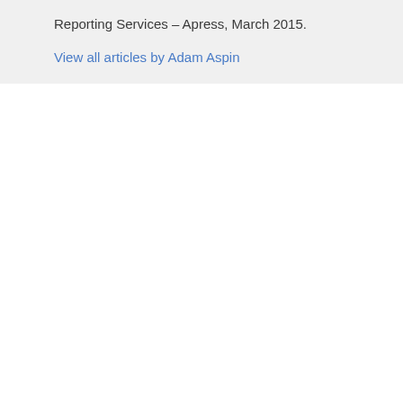Reporting Services – Apress, March 2015.
View all articles by Adam Aspin